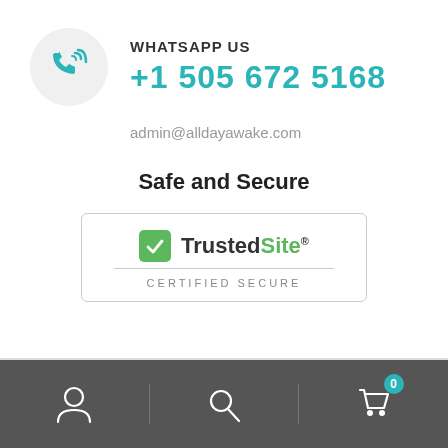[Figure (illustration): Teal phone/call icon inside a light gray circle]
WHATSAPP US
+1 505 672 5168
admin@alldayawake.com
Safe and Secure
[Figure (logo): TrustedSite CERTIFIED SECURE badge with green checkmark]
[Figure (logo): Brand logo - brain/lightbulb illustration with orange wings]
Navigation bar with user icon, search icon, and cart icon with badge 0